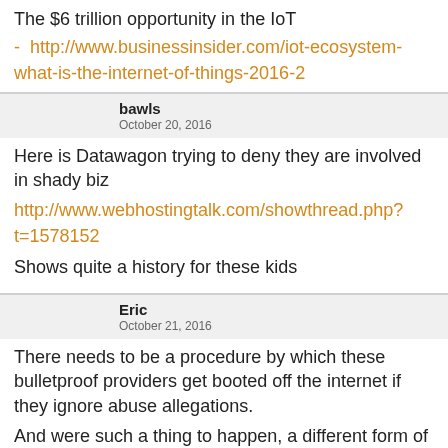The $6 trillion opportunity in the IoT
- http://www.businessinsider.com/iot-ecosystem-what-is-the-internet-of-things-2016-2
bawls
October 20, 2016
Here is Datawagon trying to deny they are involved in shady biz http://www.webhostingtalk.com/showthread.php?t=1578152
Shows quite a history for these kids
Eric
October 21, 2016
There needs to be a procedure by which these bulletproof providers get booted off the internet if they ignore abuse allegations.
And were such a thing to happen, a different form of DDOS would occur where the